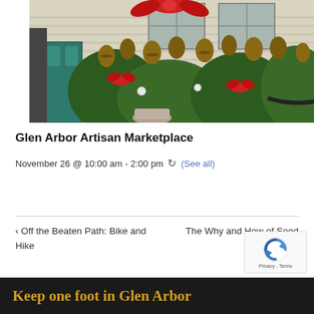[Figure (photo): Outdoor holiday marketplace display with wreaths, pine cones, red bows, ornaments, and Christmas decorations in front of a building with windows.]
Glen Arbor Artisan Marketplace
November 26 @ 10:00 am - 2:00 pm  (See all)
< Off the Beaten Path: Bike and Hike    The Why and How of Seed Saving >
Keep one foot in Glen Arbor